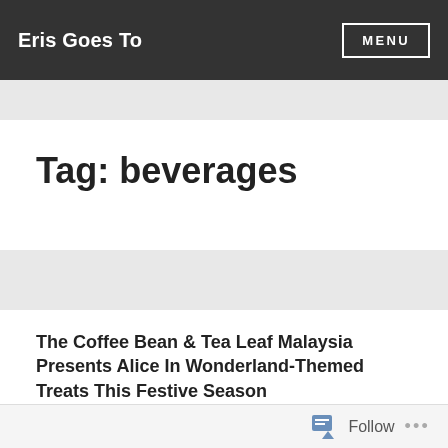Eris Goes To | MENU
Tag: beverages
The Coffee Bean & Tea Leaf Malaysia Presents Alice In Wonderland-Themed Treats This Festive Season
DECEMBER 2, 2020 • Posted in FOOD • LEAVE A
Follow ...